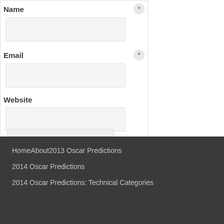Name *
Email *
Website
Submit Comment
Home   About   2013 Oscar Predictions   2014 Oscar Predictions   2014 Oscar Predictions: Technical Categories